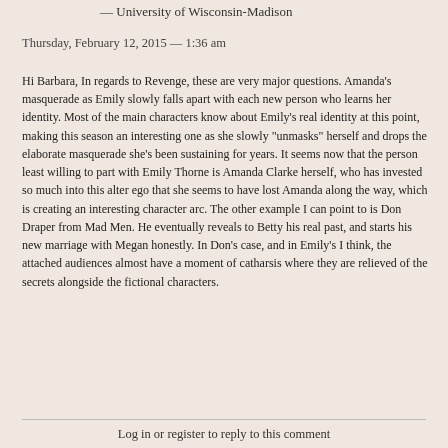— University of Wisconsin-Madison
Thursday, February 12, 2015 — 1:36 am
Hi Barbara, In regards to Revenge, these are very major questions. Amanda's masquerade as Emily slowly falls apart with each new person who learns her identity. Most of the main characters know about Emily's real identity at this point, making this season an interesting one as she slowly "unmasks" herself and drops the elaborate masquerade she's been sustaining for years. It seems now that the person least willing to part with Emily Thorne is Amanda Clarke herself, who has invested so much into this alter ego that she seems to have lost Amanda along the way, which is creating an interesting character arc. The other example I can point to is Don Draper from Mad Men. He eventually reveals to Betty his real past, and starts his new marriage with Megan honestly. In Don's case, and in Emily's I think, the attached audiences almost have a moment of catharsis where they are relieved of the secrets alongside the fictional characters.
Log in or register to reply to this comment